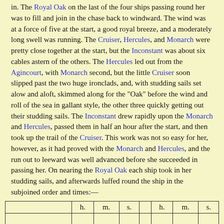in. The Royal Oak on the last of the four ships passing round her was to fill and join in the chase back to windward. The wind was at a force of five at the start, a good royal breeze, and a moderately long swell was running. The Cruiser, Hercules, and Monarch were pretty close together at the start, but the Inconstant was about six cables astern of the others. The Hercules led out from the Agincourt, with Monarch second, but the little Cruiser soon slipped past the two huge ironclads, and, with studding sails set alow and aloft, skimmed along for the "Oak" before the wind and roll of the sea in gallant style, the other three quickly getting out their studding sails. The Inconstant drew rapidly upon the Monarch and Hercules, passed them in half an hour after the start, and then took up the trail of the Cruiser. This work was not so easy for her, however, as it had proved with the Monarch and Hercules, and the run out to leeward was well advanced before she succeeded in passing her. On nearing the Royal Oak each ship took in her studding sails, and afterwards luffed round the ship in the subjoined order and times:—
|  | h. | m. | s. |  | h. | m. | s. |
| --- | --- | --- | --- | --- | --- | --- | --- |
|  |  |  |  |  |  |  |  |